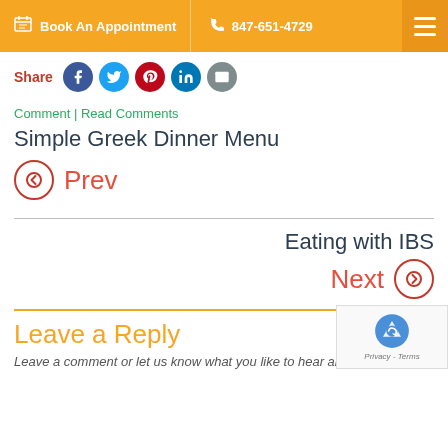Book An Appointment | 847-651-4729
Share
Comment | Read Comments
Simple Greek Dinner Menu
Prev
Eating with IBS
Next
Leave a Reply
Leave a comment or let us know what you like to hear about within